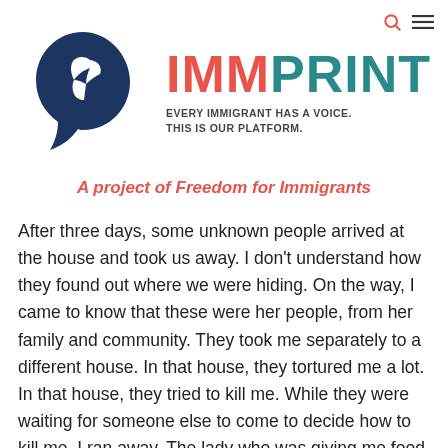[Figure (logo): IMMPrint logo: a dark navy blue silhouette of a human head in profile facing right, with a white dove shape inside/integrated into the head design]
IMMPRINT
EVERY IMMIGRANT HAS A VOICE. THIS IS OUR PLATFORM.
A project of Freedom for Immigrants
After three days, some unknown people arrived at the house and took us away. I don't understand how they found out where we were hiding. On the way, I came to know that these were her people, from her family and community. They took me separately to a different house. In that house, they tortured me a lot. In that house, they tried to kill me. While they were waiting for someone else to come to decide how to kill me, I ran away. The lady who was giving me food helped me, and gave me fifty rupees. I